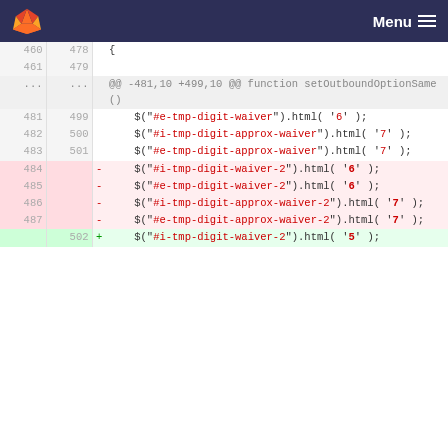GitLab diff view — Menu
[Figure (screenshot): GitLab code diff showing lines 460-487 (old) and 478-502 (new) with removed and added JavaScript jQuery calls for digit-waiver HTML updates]
460 478 {
461 479
... ... @@ -481,10 +499,10 @@ function setOutboundOptionSame ()
481 499     $("#e-tmp-digit-waiver").html( '6' );
482 500     $("#i-tmp-digit-approx-waiver").html( '7' );
483 501     $("#e-tmp-digit-approx-waiver").html( '7' );
484   -   $("#i-tmp-digit-waiver-2").html( '6' );
485   -   $("#e-tmp-digit-waiver-2").html( '6' );
486   -   $("#i-tmp-digit-approx-waiver-2").html( '7' );
487   -   $("#e-tmp-digit-approx-waiver-2").html( '7' );
    502 +   $("#i-tmp-digit-waiver-2").html( '5' );